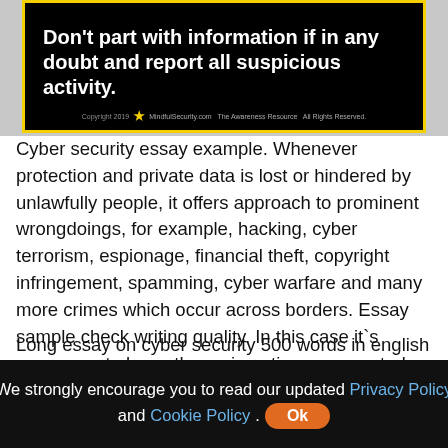[Figure (infographic): Black banner with yellow border showing cybersecurity warning text and MindfulSecurity.com copyright line]
Cyber security essay example. Whenever protection and private data is lost or hindered by unlawfully people, it offers approach to prominent wrongdoings, for example, hacking, cyber terrorism, espionage, financial theft, copyright infringement, spamming, cyber warfare and many more crimes which occur across borders. Essay sample check writing quality. In this case it`s necessary to know the main notions, connected with cyber security, which is practice of protecting systems, networks, and programs from digital attacks.
Long essay on cyber security 500 words in english
We strongly encourage you to read our updated Privacy Policy and Cookie Policy. Ok